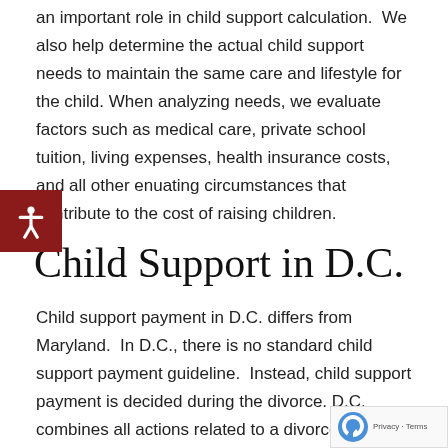an important role in child support calculation.  We also help determine the actual child support needs to maintain the same care and lifestyle for the child. When analyzing needs, we evaluate factors such as medical care, private school tuition, living expenses, health insurance costs, and all other enuating circumstances that contribute to the cost of raising children.
Child Support in D.C.
Child support payment in D.C. differs from Maryland.  In D.C., there is no standard child support payment guideline.  Instead, child support payment is decided during the divorce. D.C. combines all actions related to a divorce into one proceeding.  Division of marital property, alimony, custody, and child support are decided all at once.  This